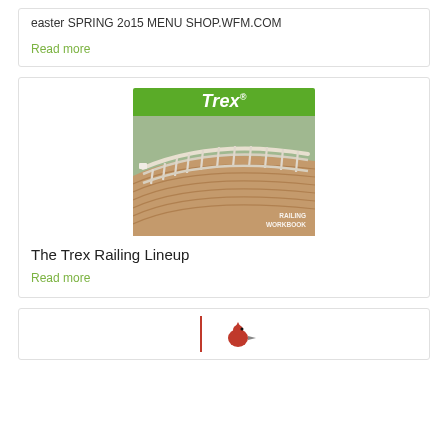easter SPRING 2o15 MENU SHOP.WFM.COM
Read more
[Figure (photo): Trex Railing Workbook cover image showing a composite deck with white railing, green Trex logo header, and a photo of a curved deck with white balusters overlooking a garden]
The Trex Railing Lineup
Read more
[Figure (logo): Partial view of bottom card with two small logos/icons at bottom of page]